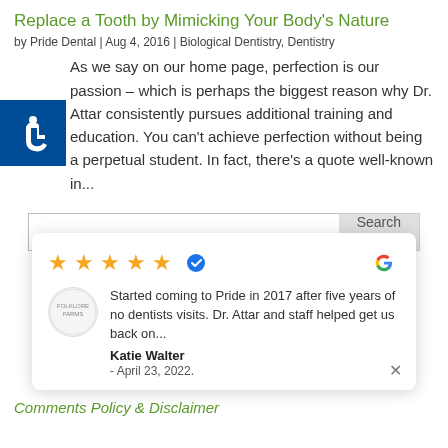Replace a Tooth by Mimicking Your Body's Nature
by Pride Dental | Aug 4, 2016 | Biological Dentistry, Dentistry
[Figure (other): Blue accessibility icon with wheelchair symbol]
As we say on our home page, perfection is our passion – which is perhaps the biggest reason why Dr. Attar consistently pursues additional training and education. You can't achieve perfection without being a perpetual student. In fact, there's a quote well-known in...
Search
Started coming to Pride in 2017 after five years of no dentists visits. Dr. Attar and staff helped get us back on... Katie Walter - April 23, 2022.
Comments Policy & Disclaimer